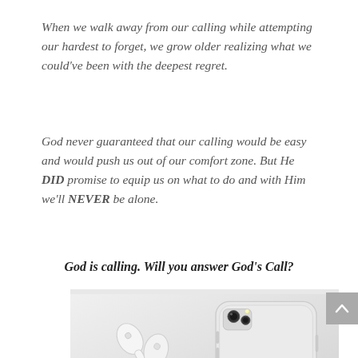When we walk away from our calling while attempting our hardest to forget, we grow older realizing what we could've been with the deepest regret.
God never guaranteed that our calling would be easy and would push us out of our comfort zone. But He DID promise to equip us on what to do and with Him we'll NEVER be alone.
God is calling. Will you answer God's Call?
[Figure (photo): A white iPhone and white AirPods on a light grey surface, photographed from above.]